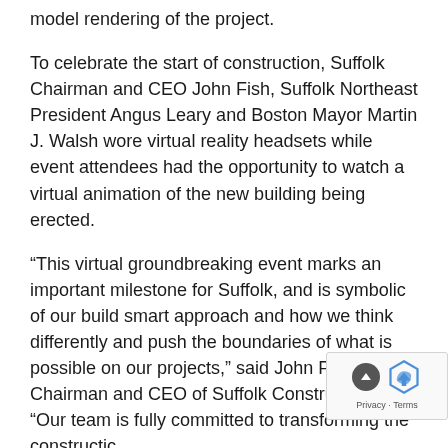model rendering of the project.
To celebrate the start of construction, Suffolk Chairman and CEO John Fish, Suffolk Northeast President Angus Leary and Boston Mayor Martin J. Walsh wore virtual reality headsets while event attendees had the opportunity to watch a virtual animation of the new building being erected.
“This virtual groundbreaking event marks an important milestone for Suffolk, and is symbolic of our build smart approach and how we think differently and push the boundaries of what is possible on our projects,” said John Fish, Chairman and CEO of Suffolk Construction. “Our team is fully committed to transforming the constructic experience for our clients and leveraging sta the-art technologies and processes.